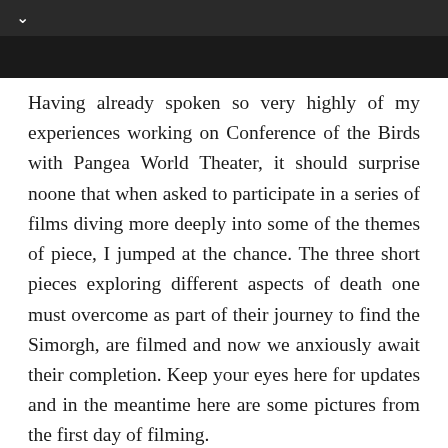[Figure (photo): Dark navigation bar with a downward chevron icon on the left, followed by a dark image strip below it]
Having already spoken so very highly of my experiences working on Conference of the Birds with Pangea World Theater, it should surprise noone that when asked to participate in a series of films diving more deeply into some of the themes of piece, I jumped at the chance. The three short pieces exploring different aspects of death one must overcome as part of their journey to find the Simorgh, are filmed and now we anxiously await their completion. Keep your eyes here for updates and in the meantime here are some pictures from the first day of filming.